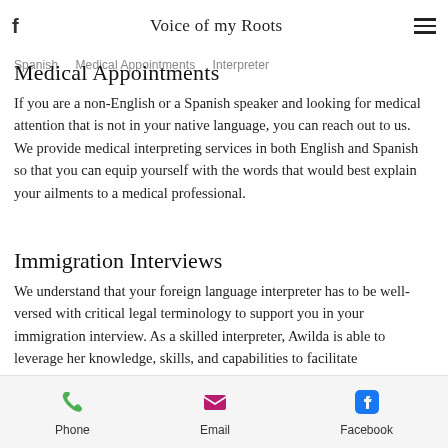f   Voice of my Roots   ☰
Spanish   Medical Appointments   Interpreter
Medical Appointments
If you are a non-English or a Spanish speaker and looking for medical attention that is not in your native language, you can reach out to us. We provide medical interpreting services in both English and Spanish so that you can equip yourself with the words that would best explain your ailments to a medical professional.
Immigration Interviews
We understand that your foreign language interpreter has to be well-versed with critical legal terminology to support you in your immigration interview. As a skilled interpreter, Awilda is able to leverage her knowledge, skills, and capabilities to facilitate conversation and advocate for you or a loved one.
Phone   Email   Facebook